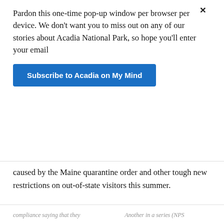Pardon this one-time pop-up window per browser per device. We don't want you to miss out on any of our stories about Acadia National Park, so hope you'll enter your email
Subscribe to Acadia on My Mind
caused by the Maine quarantine order and other tough new restrictions on out-of-state visitors this summer.
Starting June 26, according to the executive order issued by Maine Gov. Janet Mills last
[Figure (photo): Photo of a park ranger hat from behind, showing the distinctive flat-brimmed hat with band, in front of green foliage]
Privacy & Cookies: This site uses cookies. By continuing to use this website, you agree to their use. To find out more, including how to control cookies, see here: Cookie Policy
Close and accept
compliance saying that they
Another in a series (NPS